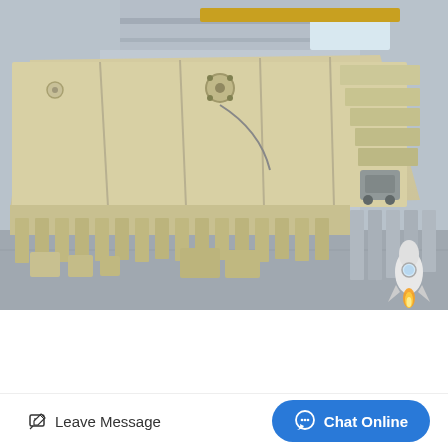[Figure (photo): Industrial crusher plant equipment photographed inside a large warehouse/factory. Large beige/cream colored vibrating screen machine lying on its side, with multiple screen panels and support components arranged on the factory floor. Overhead crane visible in background.]
crusher plant - Tanzania Crusher
Tanzania Crusher crusher plant The XSM Shanghai is a
Leave Message
Chat Online